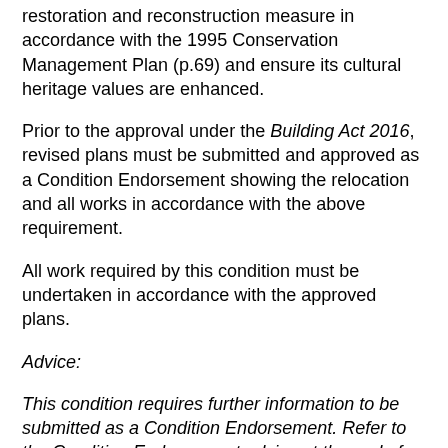restoration and reconstruction measure in accordance with the 1995 Conservation Management Plan (p.69) and ensure its cultural heritage values are enhanced.
Prior to the approval under the Building Act 2016, revised plans must be submitted and approved as a Condition Endorsement showing the relocation and all works in accordance with the above requirement.
All work required by this condition must be undertaken in accordance with the approved plans.
Advice:
This condition requires further information to be submitted as a Condition Endorsement. Refer to the Condition Endorsement advice at the end of this permit.
Reason for condition
To ensure that development at a heritage place is undertaken in a sympathetic manner which does not